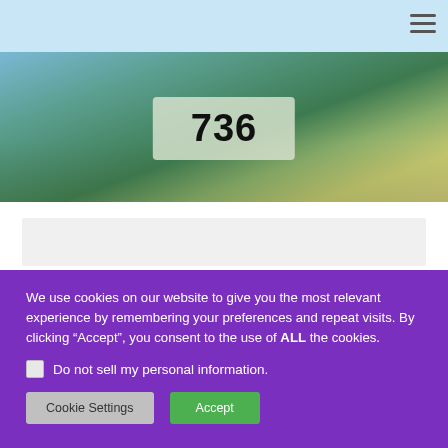[Figure (photo): Outdoor hero image showing trees, foliage, and a parking or road area with a numbered badge '736' overlaid on the scene.]
We use cookies on our website to give you the most relevant experience by remembering your preferences and repeat visits. By clicking “Accept”, you consent to the use of ALL the cookies.
Do not sell my personal information.
Cookie Settings   Accept